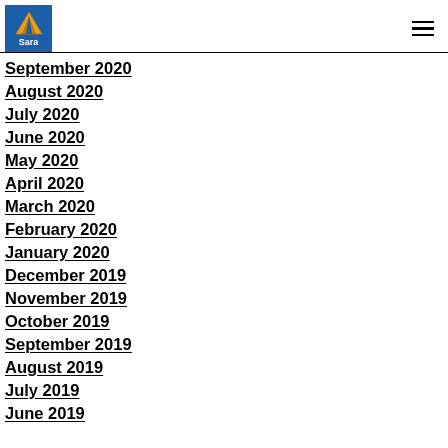Sara
September 2020
August 2020
July 2020
June 2020
May 2020
April 2020
March 2020
February 2020
January 2020
December 2019
November 2019
October 2019
September 2019
August 2019
July 2019
June 2019